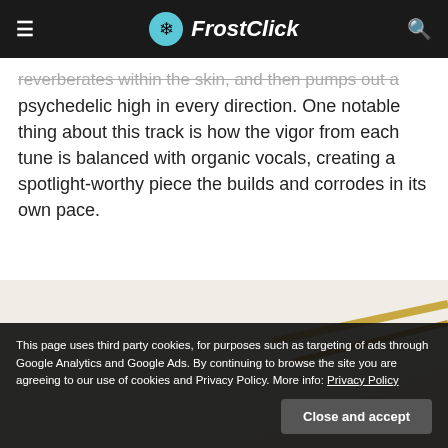FrostClick
reverberates within the skin, and then pumps out a psychedelic high in every direction. One notable thing about this track is how the vigor from each tune is balanced with organic vocals, creating a spotlight-worthy piece the builds and corrodes in its own pace.
[Figure (photo): Album art or music-related photo with a light cream/beige background and a gold diagonal element resembling a guitar neck on the right side.]
This page uses third party cookies, for purposes such as targeting of ads through Google Analytics and Google Ads. By continuing to browse the site you are agreeing to our use of cookies and Privacy Policy. More info: Privacy Policy